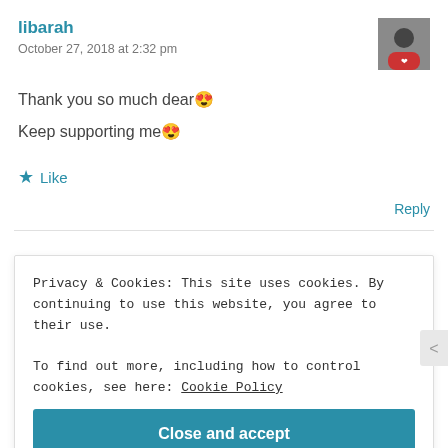libarah
October 27, 2018 at 2:32 pm
Thank you so much dear 😍
Keep supporting me 😍
★ Like
Reply
Privacy & Cookies: This site uses cookies. By continuing to use this website, you agree to their use.
To find out more, including how to control cookies, see here: Cookie Policy
Close and accept